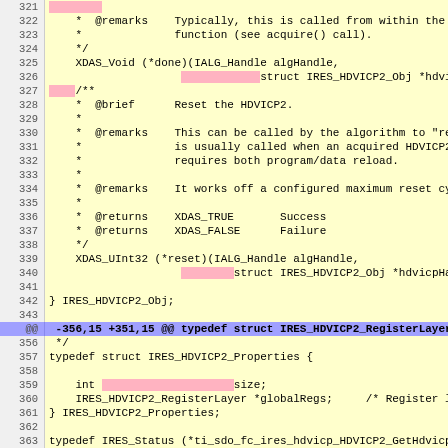[Figure (screenshot): Code diff view showing C header file with IRES_HDVICP2 structure definitions, lines 321-366, with pink highlights on changed/removed tokens and a blue diff header line at line @@.]